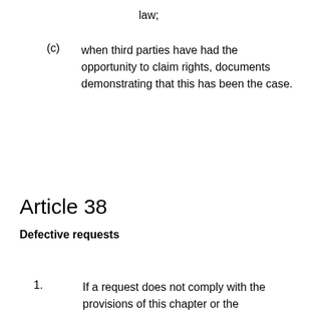law;
(c)	when third parties have had the opportunity to claim rights, documents demonstrating that this has been the case.
Article 38
Defective requests
1.	If a request does not comply with the provisions of this chapter or the